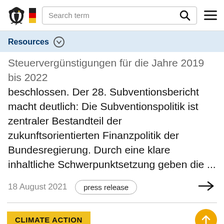Search term
Resources
Steuervergünstigungen für die Jahre 2019 bis 2022 beschlossen. Der 28. Subventionsbericht macht deutlich: Die Subventionspolitik ist zentraler Bestandteil der zukunftsorientierten Finanzpolitik der Bundesregierung. Durch eine klare inhaltliche Schwerpunktsetzung geben die ...
18 August 2021
press release
CLIMATE ACTION